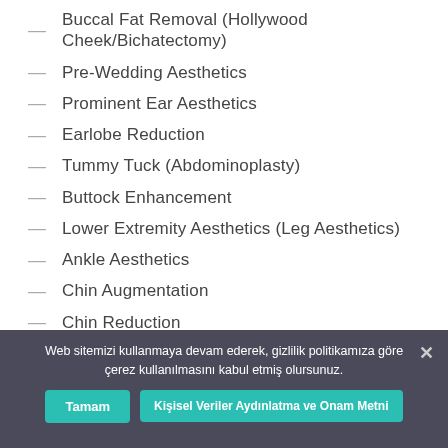Buccal Fat Removal (Hollywood Cheek/Bichatectomy)
Pre-Wedding Aesthetics
Prominent Ear Aesthetics
Earlobe Reduction
Tummy Tuck (Abdominoplasty)
Buttock Enhancement
Lower Extremity Aesthetics (Leg Aesthetics)
Ankle Aesthetics
Chin Augmentation
Chin Reduction
Chin Implant
Chin Rasping
Web sitemizi kullanmaya devam ederek, gizlilik politikamıza göre çerez kullanılmasını kabul etmiş olursunuz.
Tamam
Kişisel Veriler Aydınlatma ve Onam Metni